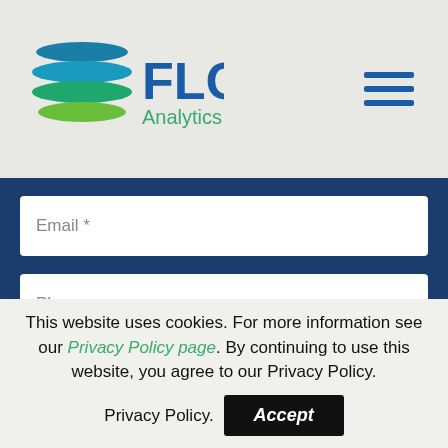[Figure (logo): FLO Analytics logo with stacked colored ellipses and blue FLO text with green Analytics subtitle]
[Figure (other): Hamburger menu icon with three horizontal blue lines]
Email *
Phone
Message
This website uses cookies. For more information see our Privacy Policy page. By continuing to use this website, you agree to our Privacy Policy.
Accept